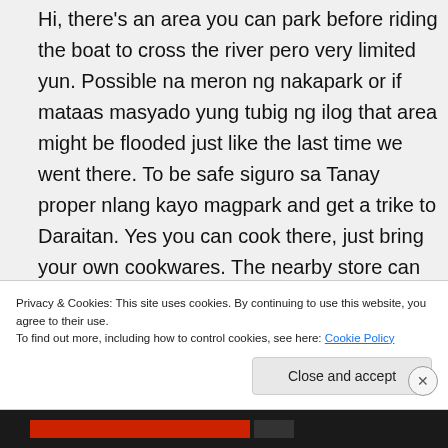Hi, there's an area you can park before riding the boat to cross the river pero very limited yun. Possible na meron ng nakapark or if mataas masyado yung tubig ng ilog that area might be flooded just like the last time we went there. To be safe siguro sa Tanay proper nlang kayo magpark and get a trike to Daraitan. Yes you can cook there, just bring your own cookwares. The nearby store can also cook for you but it's 10-15minutes away from the
Privacy & Cookies: This site uses cookies. By continuing to use this website, you agree to their use.
To find out more, including how to control cookies, see here: Cookie Policy
Close and accept